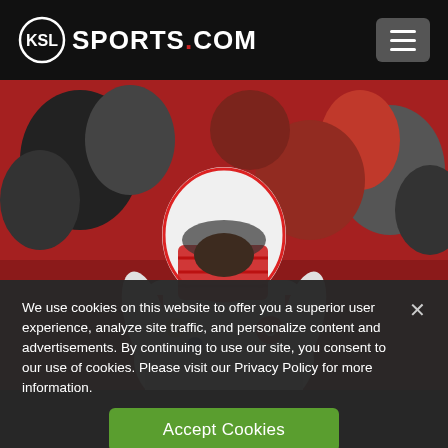KSL SPORTS.COM
[Figure (photo): Utah Utes football player wearing white and red uniform with captain's C patch, red helmet with face mask, Rose Bowl patch on shoulder, Under Armour logo, crowd in background]
We use cookies on this website to offer you a superior user experience, analyze site traffic, and personalize content and advertisements. By continuing to use our site, you consent to our use of cookies. Please visit our Privacy Policy for more information.
Accept Cookies